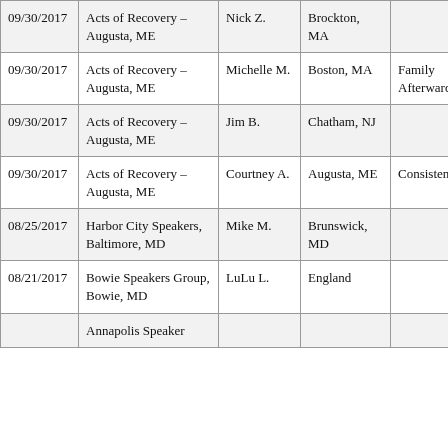| 09/30/2017 | Acts of Recovery – Augusta, ME | Nick Z. | Brockton, MA |  |
| 09/30/2017 | Acts of Recovery – Augusta, ME | Michelle M. | Boston, MA | Family Afterward |
| 09/30/2017 | Acts of Recovery – Augusta, ME | Jim B. | Chatham, NJ |  |
| 09/30/2017 | Acts of Recovery – Augusta, ME | Courtney A. | Augusta, ME | Consistency |
| 08/25/2017 | Harbor City Speakers, Baltimore, MD | Mike M. | Brunswick, MD |  |
| 08/21/2017 | Bowie Speakers Group, Bowie, MD | LuLu L. | England |  |
|  | Annapolis Speaker |  |  |  |